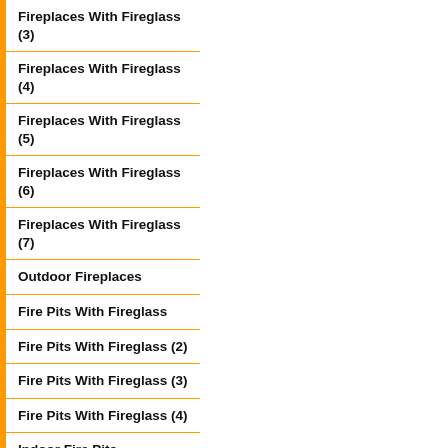Fireplaces With Fireglass (3)
Fireplaces With Fireglass (4)
Fireplaces With Fireglass (5)
Fireplaces With Fireglass (6)
Fireplaces With Fireglass (7)
Outdoor Fireplaces
Fire Pits With Fireglass
Fire Pits With Fireglass (2)
Fire Pits With Fireglass (3)
Fire Pits With Fireglass (4)
Indoor Fire Pits
Fire Tables With Fireglass
Fire Tables With Fireglass